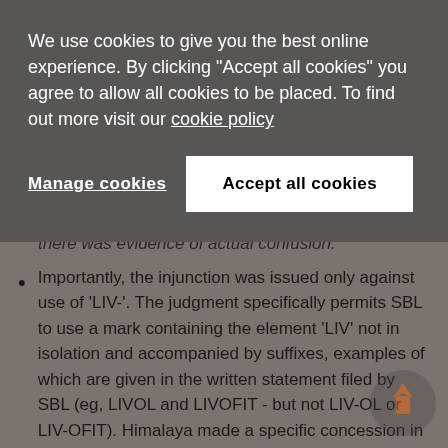We use cookies to give you the best online experience. By clicking "Accept all cookies" you agree to allow all cookies to be placed. To find out more visit our cookie policy
Manage cookies | Accept all cookies
there was evidence of actual confusion.
Importantly, the injunction was issued only against use of 'LIV-'. The judgment specifically permits SBL to use a mark containing the element 'LIV' not in isolation and accompanied by suffixes, examples of which are given in the written statement filed by SBL (eg, LIVOL and LIVOFIT - but not LIV-OL or LIV-OFIT). Himalaya made a specific concession in this regard during the course of the